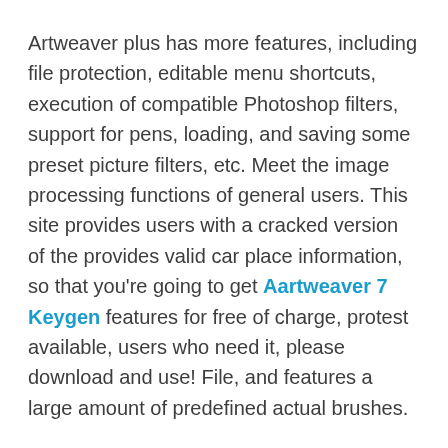Artweaver plus has more features, including file protection, editable menu shortcuts, execution of compatible Photoshop filters, support for pens, loading, and saving some preset picture filters, etc. Meet the image processing functions of general users. This site provides users with a cracked version of the provides valid car place information, so that you're going to get Aartweaver 7 Keygen features for free of charge, protest available, users who need it, please download and use! File, and features a large amount of predefined actual brushes.
Artweaver Plus Crack is a free raster illustrations manager for Windows XP, Vista, 7, 8, and 10 (32-